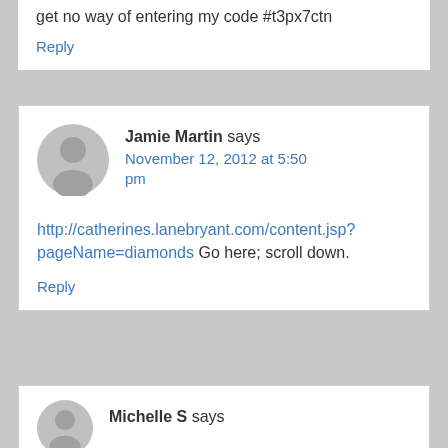get no way of entering my code #t3px7ctn
Reply
Jamie Martin says
November 12, 2012 at 5:50 pm
http://catherines.lanebryant.com/content.jsp?pageName=diamonds Go here; scroll down.
Reply
Michelle S says